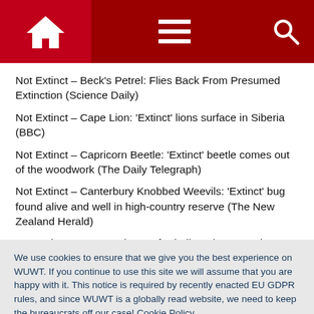Navigation bar with home, menu, and search icons
Not Extinct – Beck's Petrel: Flies Back From Presumed Extinction (Science Daily)
Not Extinct – Cape Lion: 'Extinct' lions surface in Siberia (BBC)
Not Extinct – Capricorn Beetle: 'Extinct' beetle comes out of the woodwork (The Daily Telegraph)
Not Extinct – Canterbury Knobbed Weevils: 'Extinct' bug found alive and well in high-country reserve (The New Zealand Herald)
Not Extinct – Cantor Giant Soft Shell Turtle: Rare giant turtle
We use cookies to ensure that we give you the best experience on WUWT. If you continue to use this site we will assume that you are happy with it. This notice is required by recently enacted EU GDPR rules, and since WUWT is a globally read website, we need to keep the bureaucrats off our case! Cookie Policy
Not Extinct – Cuban Solenodon: Mammal thought extinct